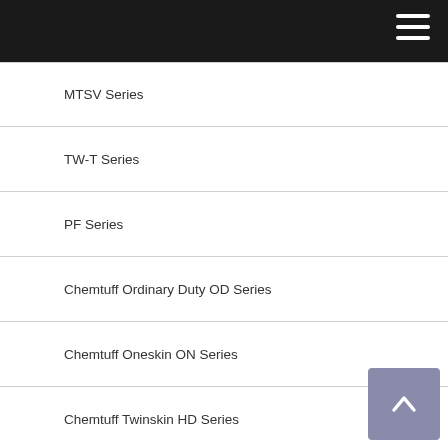MTSV Series
TW-T Series
PF Series
Chemtuff Ordinary Duty OD Series
Chemtuff Oneskin ON Series
Chemtuff Twinskin HD Series
Chemtuff Twinskin HDT Series
Allflex Industriall MLG2 Multi Series
AR Series
HO Plus Series
HR Series